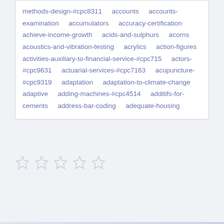methods-design-#cpc8311 accounts accounts-examination accumulators accuracy-certification achieve-income-growth acids-and-sulphurs acorns acoustics-and-vibration-testing acrylics action-figures activities-auxiliary-to-financial-service-#cpc715 actors-#cpc9631 actuarial-services-#cpc7163 acupuncture-#cpc9319 adaptation adaptation-to-climate-change adaptive adding-machines-#cpc4514 additifs-for-cements address-bar-coding adequate-housing
[Figure (other): Five empty star rating icons in a row]